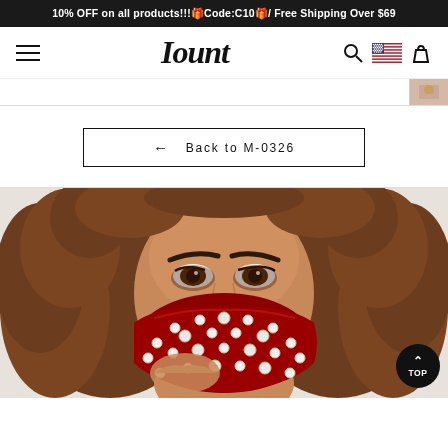10% OFF on all products!!!🎁Code:C10🎁/ Free Shipping Over $69
[Figure (screenshot): Website navigation bar with hamburger menu, Iount logo in italic serif font, search icon, US flag icon, and shopping bag icon]
[Figure (screenshot): Small thumbnail image at top right of page]
← Back to M-0326
[Figure (photo): Woman with curly brown hair wearing a red velvet face mask decorated with rhinestones and pearls, holding the mask up to her face]